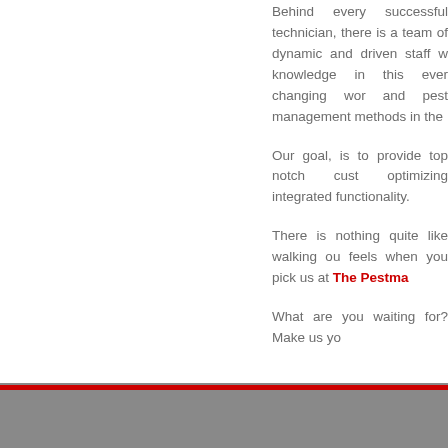Behind every successful technician, there is a team of dynamic and driven staff who expand knowledge in this ever changing world of science and pest management methods in the industry.
Our goal, is to provide top notch customer service optimizing integrated functionality.
There is nothing quite like walking out and how it feels when you pick us at The Pestma…
What are you waiting for? Make us yo…